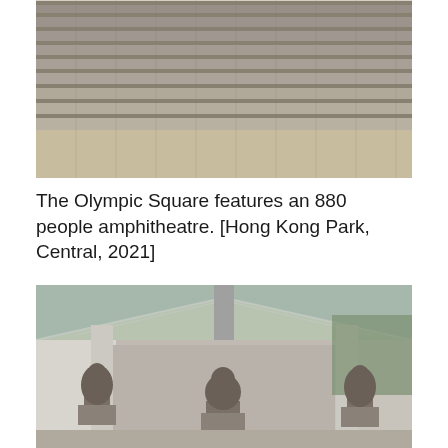[Figure (photo): An amphitheatre with tiered concrete/stone seating steps arranged in a curved pattern, viewed from ground level looking up at the steps. The setting appears to be an outdoor venue in Hong Kong Park.]
The Olympic Square features an 880 people amphitheatre. [Hong Kong Park, Central, 2021]
[Figure (photo): Interior of a pavilion or gallery with a glass and metal roof structure supported by concrete pillars. Three bronze bust sculptures are displayed on pedestals inside the open-sided structure, surrounded by trees and white stone architecture.]